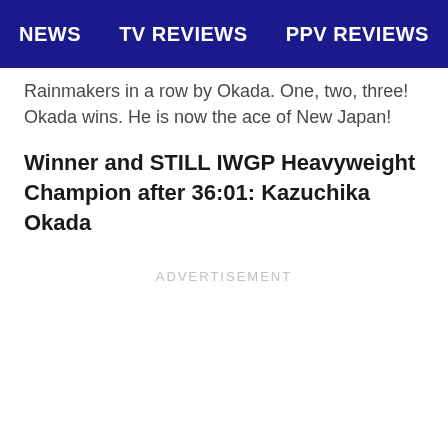NEWS   TV REVIEWS   PPV REVIEWS
Rainmakers in a row by Okada. One, two, three! Okada wins. He is now the ace of New Japan!
Winner and STILL IWGP Heavyweight Champion after 36:01: Kazuchika Okada
ADVERTISEMENT